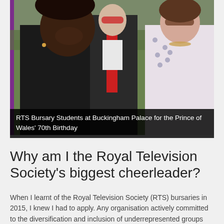[Figure (photo): Three young people posing outdoors at Buckingham Palace. On the left is a young Black woman smiling broadly wearing a dark top. In the center is a young white man in a dark suit with a red tie wearing red-tinted sunglasses. On the right is a young white woman with brown hair wearing sunglasses and a patterned white top with a beaded necklace. Background shows a garden with people and greenery. A purple vertical stripe is visible on the left edge.]
RTS Bursary Students at Buckingham Palace for the Prince of Wales' 70th Birthday
Why am I the Royal Television Society's biggest cheerleader?
When I learnt of the Royal Television Society (RTS) bursaries in 2015, I knew I had to apply. Any organisation actively committed to the diversification and inclusion of underrepresented groups within the British media will always hold a place in my heart. Plus, being part of the RTS is a great opportunity to network with media industry leaders - an opportunity that I was very unlikely to stumble across as a young black woman, from a low-income family.